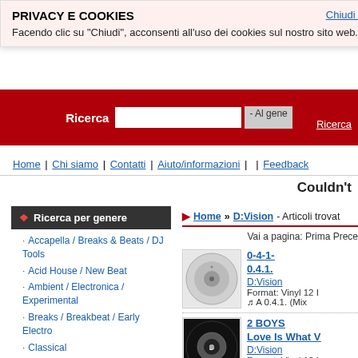PRIVACY E COOKIES
Facendo clic su "Chiudi", acconsenti all'uso dei cookies sul nostro sito web.
Chiudi X
Ricerca | - Al genere
Ricerca
Home | Chi siamo | Contatti | Aiuto/informazioni | | Feedback
Couldn't
Ricerca per genere
Home » D:Vision - Articoli trovat
Vai a pagina: Prima Prece
Accapella / Breaks & Beats / DJ Tools
Acid House / New Beat
Ambient / Electronica / Experimental
Breaks / Breakbeat / Early Electro
Classical
Dance / Euro House
Disco / Nu Disco / Funky / Re-Edits
DownTempo / Chill Out / Electronica
Electro / Minimal / Prog / Tech / Hard House
Funky / Vocal / Deep / Tribal House
Hip Hop / Rap / RnB
House Classics
Italian Pop
0-4-1-
0.4.1.
D:Vision
Format: Vinyl 12 I
♫ A 0.4.1. (Mix
2 BOYS
Love Is What V
D:Vision
Format: Vinyl 12 I
♫ A Love Is Wha